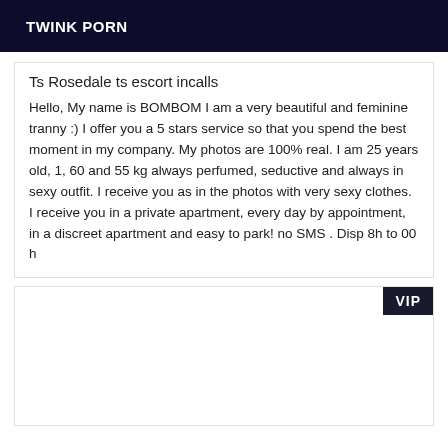TWINK PORN
Ts Rosedale ts escort incalls
Hello, My name is BOMBOM I am a very beautiful and feminine tranny :) I offer you a 5 stars service so that you spend the best moment in my company. My photos are 100% real. I am 25 years old, 1, 60 and 55 kg always perfumed, seductive and always in sexy outfit. I receive you as in the photos with very sexy clothes. I receive you in a private apartment, every day by appointment, in a discreet apartment and easy to park! no SMS . Disp 8h to 00 h
[Figure (other): Card with VIP badge in top-right corner, mostly empty white space]